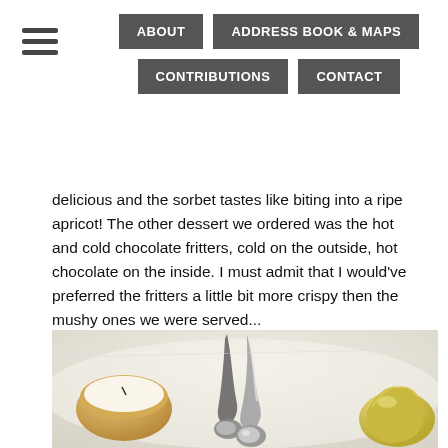ABOUT | ADDRESS BOOK & MAPS | CONTRIBUTIONS | CONTACT
delicious and the sorbet tastes like biting into a ripe apricot! The other dessert we ordered was the hot and cold chocolate fritters, cold on the outside, hot chocolate on the inside. I must admit that I would've preferred the fritters a little bit more crispy then the mushy ones we were served...
[Figure (photo): A dessert plate on a white surface showing a powdered sugar-dusted round pastry on the left, two shiny silver spoons in the center, and a yellow/cream colored mango-shaped sorbet on the right.]